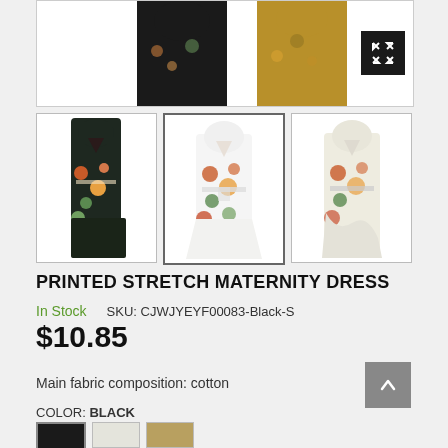[Figure (photo): Top portion of product image showing two floral maternity dresses side by side with expand icon button]
[Figure (photo): Thumbnail 1: Dark/black floral printed maternity wrap dress]
[Figure (photo): Thumbnail 2: White floral printed maternity wrap dress (selected)]
[Figure (photo): Thumbnail 3: Cream/off-white floral printed maternity wrap dress]
PRINTED STRETCH MATERNITY DRESS
In Stock    SKU: CJWJYEYF00083-Black-S
$10.85
Main fabric composition: cotton
COLOR: BLACK
[Figure (photo): Three color swatch thumbnails: dark/black, light grey, and tan/gold]